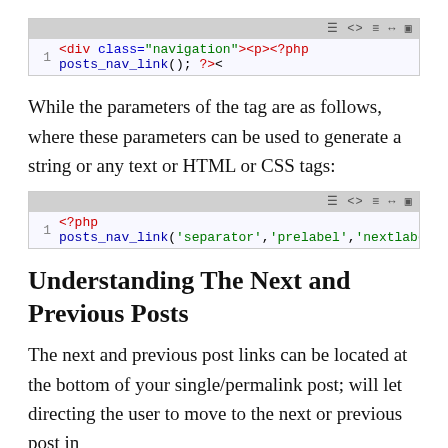[Figure (screenshot): Code block showing: 1  <div class="navigation"><p><?php posts_nav_link(); ?><]
While the parameters of the tag are as follows, where these parameters can be used to generate a string or any text or HTML or CSS tags:
[Figure (screenshot): Code block showing: 1  <?php posts_nav_link('separator','prelabel','nextlabel]
Understanding The Next and Previous Posts
The next and previous post links can be located at the bottom of your single/permalink post; will let directing the user to move to the next or previous post in the chronological order. There are two...